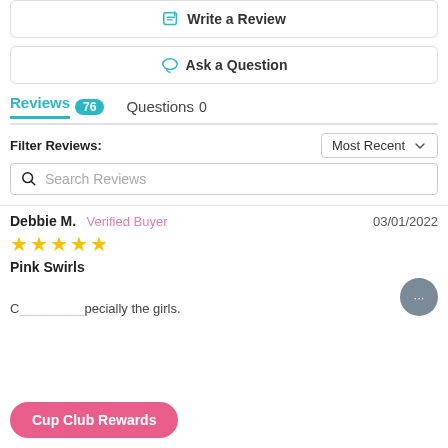✏ Write a Review
💬 Ask a Question
Reviews 76   Questions 0
Filter Reviews:
Most Recent ∨
Search Reviews
Debbie M.  Verified Buyer  03/01/2022  ★★★★★  Pink Swirls  ...specially the girls.
Cup Club Rewards